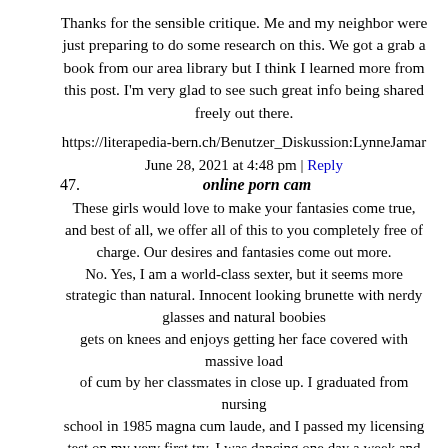Thanks for the sensible critique. Me and my neighbor were just preparing to do some research on this. We got a grab a book from our area library but I think I learned more from this post. I'm very glad to see such great info being shared freely out there.
https://literapedia-bern.ch/Benutzer_Diskussion:LynneJamar
June 28, 2021 at 4:48 pm | Reply
47. online porn cam
These girls would love to make your fantasies come true, and best of all, we offer all of this to you completely free of charge. Our desires and fantasies come out more. No. Yes, I am a world-class sexter, but it seems more strategic than natural. Innocent looking brunette with nerdy glasses and natural boobies gets on knees and enjoys getting her face covered with massive load of cum by her classmates in close up. I graduated from nursing school in 1985 magna cum laude, and I passed my licensing test on my very first try. I was dancing one day a week and going to nursing school five days a week. We heard from her in four days. There will always be space